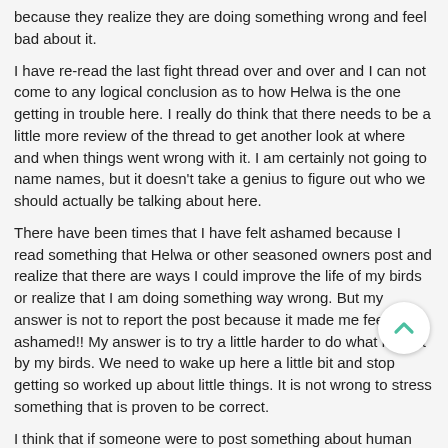because they realize they are doing something wrong and feel bad about it.
I have re-read the last fight thread over and over and I can not come to any logical conclusion as to how Helwa is the one getting in trouble here. I really do think that there needs to be a little more review of the thread to get another look at where and when things went wrong with it. I am certainly not going to name names, but it doesn't take a genius to figure out who we should actually be talking about here.
There have been times that I have felt ashamed because I read something that Helwa or other seasoned owners post and realize that there are ways I could improve the life of my birds or realize that I am doing something way wrong. But my answer is not to report the post because it made me feel ashamed!! My answer is to try a little harder to do what is right by my birds. We need to wake up here a little bit and stop getting so worked up about little things. It is not wrong to stress something that is proven to be correct.
I think that if someone were to post something about human medical care I would be all over it even if what I had to say might offend someone. I am having to correct people every day in the clinic whether it be about smoking or telling someone that they need to lose weight for their health. It doesn't make them happy, but it needs to be done sometimes.
I suppose what I have to say isn't going to matter in this case. There are obviously people who are getting upset about the wrong things and